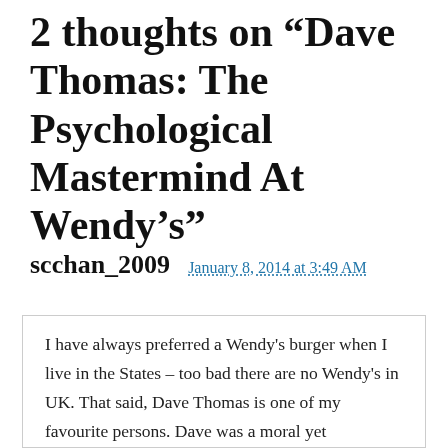2 thoughts on “Dave Thomas: The Psychological Mastermind At Wendy’s”
scchan_2009
January 8, 2014 at 3:49 AM
I have always preferred a Wendy's burger when I live in the States – too bad there are no Wendy's in UK. That said, Dave Thomas is one of my favourite persons. Dave was a moral yet charismatic individual – Wendy's ads feature grandfather Dave were among the best out there – gives you a really warm and friendly feeling. Dave gives me a good feeling that real, profitable yet socially responsible capitalism is kicking in US...